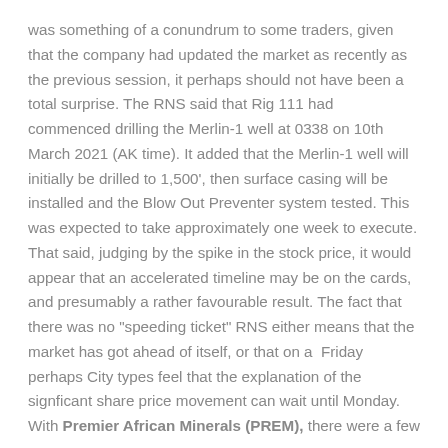was something of a conundrum to some traders, given that the company had updated the market as recently as the previous session, it perhaps should not have been a total surprise. The RNS said that Rig 111 had commenced drilling the Merlin-1 well at 0338 on 10th March 2021 (AK time). It added that the Merlin-1 well will initially be drilled to 1,500', then surface casing will be installed and the Blow Out Preventer system tested. This was expected to take approximately one week to execute. That said, judging by the spike in the stock price, it would appear that an accelerated timeline may be on the cards, and presumably a rather favourable result. The fact that there was no "speeding ticket" RNS either means that the market has got ahead of itself, or that on a  Friday perhaps City types feel that the explanation of the signficant share price movement can wait until Monday. With Premier African Minerals (PREM), there were a few